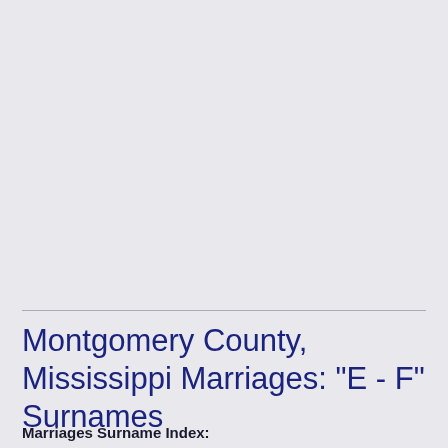Montgomery County, Mississippi Marriages: "E - F" Surnames
Marriages Surname Index: